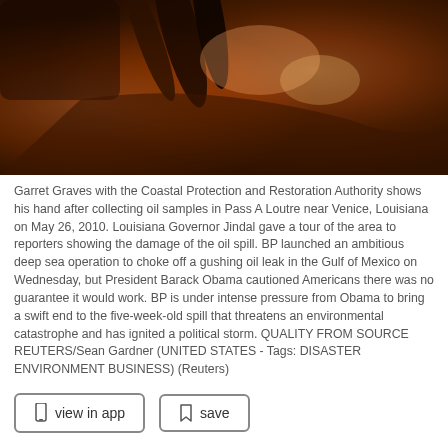[Figure (photo): Close-up photo of oil-covered hands/crustacean claws, orange-brown tones, showing oil contamination from the Gulf of Mexico oil spill.]
Garret Graves with the Coastal Protection and Restoration Authority shows his hand after collecting oil samples in Pass A Loutre near Venice, Louisiana on May 26, 2010. Louisiana Governor Jindal gave a tour of the area to reporters showing the damage of the oil spill. BP launched an ambitious deep sea operation to choke off a gushing oil leak in the Gulf of Mexico on Wednesday, but President Barack Obama cautioned Americans there was no guarantee it would work. BP is under intense pressure from Obama to bring a swift end to the five-week-old spill that threatens an environmental catastrophe and has ignited a political storm. QUALITY FROM SOURCE REUTERS/Sean Gardner (UNITED STATES - Tags: DISASTER ENVIRONMENT BUSINESS) (Reuters)
here could be no better visual metaphor for the political damage the Obama